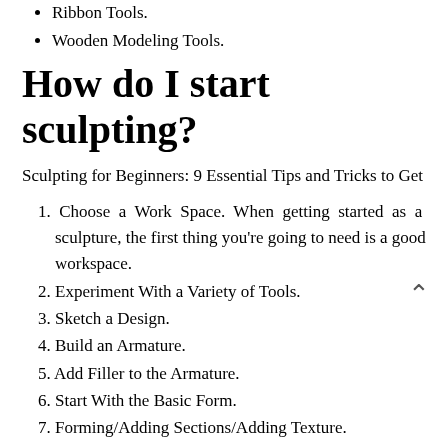Ribbon Tools.
Wooden Modeling Tools.
How do I start sculpting?
Sculpting for Beginners: 9 Essential Tips and Tricks to Get
1. Choose a Work Space. When getting started as a sculpture, the first thing you’re going to need is a good workspace.
2. Experiment With a Variety of Tools.
3. Sketch a Design.
4. Build an Armature.
5. Add Filler to the Armature.
6. Start With the Basic Form.
7. Forming/Adding Sections/Adding Texture.
8. Curing.
What are the best clay